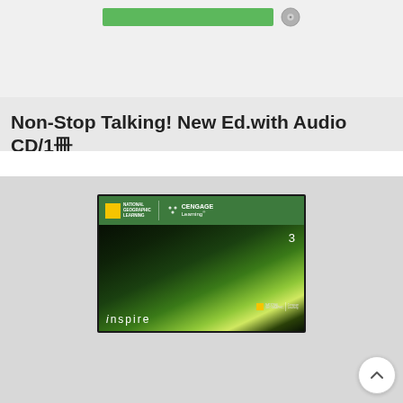[Figure (screenshot): Top bar with green button and CD icon]
Non-Stop Talking! New Ed.with Audio CD/1冊
[Figure (photo): Book cover showing National Geographic Learning / Cengage Learning 'inspire 3' textbook with dark green abstract cover design]